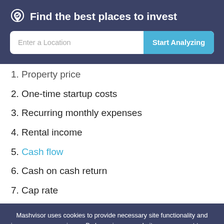Find the best places to invest
1. Property price
2. One-time startup costs
3. Recurring monthly expenses
4. Rental income
5. Cash flow
6. Cash on cash return
7. Cap rate
Mashvisor uses cookies to provide necessary site functionality and improve your experience. By browsing our website, you consent to our use of cookies. To learn more please refer to our cookie policy